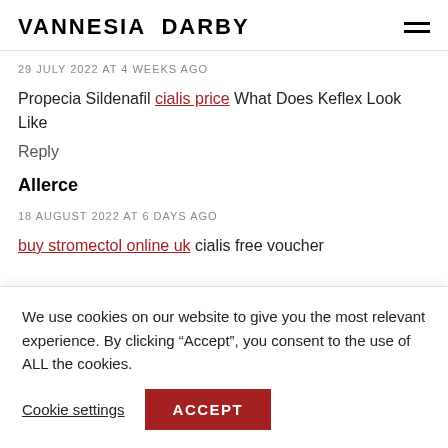VANNESIA DARBY
29 JULY 2022 AT 4 WEEKS AGO
Propecia Sildenafil cialis price What Does Keflex Look Like
Reply
Allerce
18 AUGUST 2022 AT 6 DAYS AGO
buy stromectol online uk cialis free voucher
We use cookies on our website to give you the most relevant experience. By clicking “Accept”, you consent to the use of ALL the cookies.
Cookie settings  ACCEPT